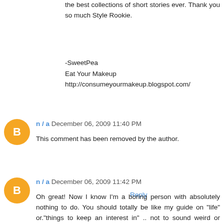the best collections of short stories ever. Thank you so much Style Rookie.
-SweetPea
Eat Your Makeup
http://consumeyourmakeup.blogspot.com/
Reply
n / a  December 06, 2009 11:40 PM
This comment has been removed by the author.
Reply
n / a  December 06, 2009 11:42 PM
Oh great! Now I know I'm a boring person with absolutely nothing to do. You should totally be like my guide on "life" or."things to keep an interest in" .. not to sound weird or anything You involve yourself with the most interesting things, things my mind is nowhere near .. until now. Plus, me being not too far from my 13th birthday it's kind of sad how I